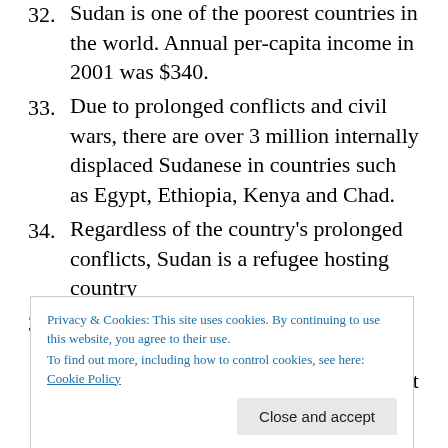32. Sudan is one of the poorest countries in the world. Annual per-capita income in 2001 was $340.
33. Due to prolonged conflicts and civil wars, there are over 3 million internally displaced Sudanese in countries such as Egypt, Ethiopia, Kenya and Chad.
34. Regardless of the country’s prolonged conflicts, Sudan is a refugee hosting country
35. Sudan hosts one of the largest numbers of Syrian refugees in the MENA region. Estimates from the Government of Sudan’s Commission of Refugees
Privacy & Cookies: This site uses cookies. By continuing to use this website, you agree to their use. To find out more, including how to control cookies, see here: Cookie Policy